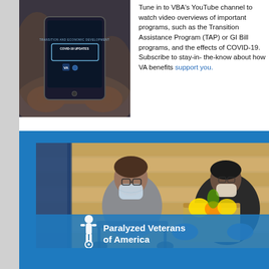[Figure (photo): Person holding a tablet displaying 'COVID-19 UPDATES' under 'Transition and Economic Development' with VA logo]
Tune in to VBA's YouTube channel to watch video overviews of important programs, such as the TAP or GI Bill programs, and the effects of COVID-19. Subscribe to stay-in-the-know about how VA benefits support you.
[Figure (photo): Two masked individuals, one in a wheelchair receiving a box of produce from another person wearing gloves, with 'Paralyzed Veterans of America' logo overlay on blue background]